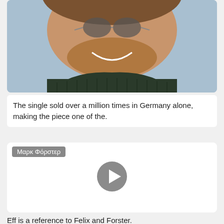[Figure (photo): Close-up photo of a smiling man with sunglasses on his head and a dark knit sweater, cropped at the chin, light blue background]
The single sold over a million times in Germany alone, making the piece one of the.
[Figure (screenshot): Video player thumbnail with label 'Μαρκ Φόρστερ' and a play button in the center, white background]
Eff is a reference to Felix and Forster.